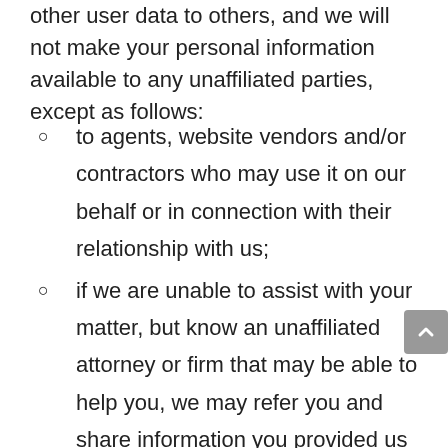other user data to others, and we will not make your personal information available to any unaffiliated parties, except as follows:
to agents, website vendors and/or contractors who may use it on our behalf or in connection with their relationship with us;
if we are unable to assist with your matter, but know an unaffiliated attorney or firm that may be able to help you, we may refer you and share information you provided us with that party; and
as required by law, in a matter of public